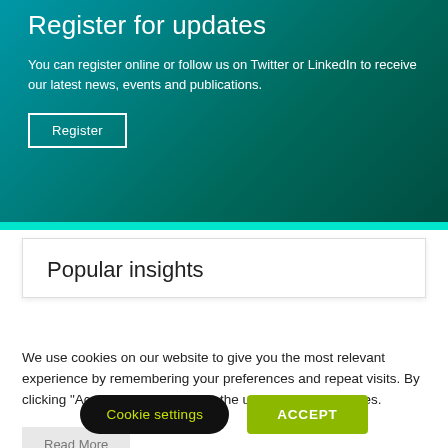Register for updates
You can register online or follow us on Twitter or LinkedIn to receive our latest news, events and publications.
Register
Popular insights
We use cookies on our website to give you the most relevant experience by remembering your preferences and repeat visits. By clicking "Accept", you consent to the use of ALL the cookies.
Read More
Cookie settings
ACCEPT